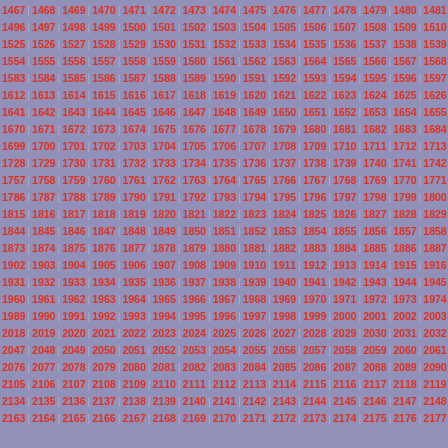1467 | 1468 | 1469 | 1470 | 1471 | 1472 | 1473 | 1474 | 1475 | 1476 | 1477 | 1478 | 1479 | 1480 | 1481
1496 | 1497 | 1498 | 1499 | 1500 | 1501 | 1502 | 1503 | 1504 | 1505 | 1506 | 1507 | 1508 | 1509 | 1510
1525 | 1526 | 1527 | 1528 | 1529 | 1530 | 1531 | 1532 | 1533 | 1534 | 1535 | 1536 | 1537 | 1538 | 1539
1554 | 1555 | 1556 | 1557 | 1558 | 1559 | 1560 | 1561 | 1562 | 1563 | 1564 | 1565 | 1566 | 1567 | 1568
1583 | 1584 | 1585 | 1586 | 1587 | 1588 | 1589 | 1590 | 1591 | 1592 | 1593 | 1594 | 1595 | 1596 | 1597
1612 | 1613 | 1614 | 1615 | 1616 | 1617 | 1618 | 1619 | 1620 | 1621 | 1622 | 1623 | 1624 | 1625 | 1626
1641 | 1642 | 1643 | 1644 | 1645 | 1646 | 1647 | 1648 | 1649 | 1650 | 1651 | 1652 | 1653 | 1654 | 1655
1670 | 1671 | 1672 | 1673 | 1674 | 1675 | 1676 | 1677 | 1678 | 1679 | 1680 | 1681 | 1682 | 1683 | 1684
1699 | 1700 | 1701 | 1702 | 1703 | 1704 | 1705 | 1706 | 1707 | 1708 | 1709 | 1710 | 1711 | 1712 | 1713
1728 | 1729 | 1730 | 1731 | 1732 | 1733 | 1734 | 1735 | 1736 | 1737 | 1738 | 1739 | 1740 | 1741 | 1742
1757 | 1758 | 1759 | 1760 | 1761 | 1762 | 1763 | 1764 | 1765 | 1766 | 1767 | 1768 | 1769 | 1770 | 1771
1786 | 1787 | 1788 | 1789 | 1790 | 1791 | 1792 | 1793 | 1794 | 1795 | 1796 | 1797 | 1798 | 1799 | 1800
1815 | 1816 | 1817 | 1818 | 1819 | 1820 | 1821 | 1822 | 1823 | 1824 | 1825 | 1826 | 1827 | 1828 | 1829
1844 | 1845 | 1846 | 1847 | 1848 | 1849 | 1850 | 1851 | 1852 | 1853 | 1854 | 1855 | 1856 | 1857 | 1858
1873 | 1874 | 1875 | 1876 | 1877 | 1878 | 1879 | 1880 | 1881 | 1882 | 1883 | 1884 | 1885 | 1886 | 1887
1902 | 1903 | 1904 | 1905 | 1906 | 1907 | 1908 | 1909 | 1910 | 1911 | 1912 | 1913 | 1914 | 1915 | 1916
1931 | 1932 | 1933 | 1934 | 1935 | 1936 | 1937 | 1938 | 1939 | 1940 | 1941 | 1942 | 1943 | 1944 | 1945
1960 | 1961 | 1962 | 1963 | 1964 | 1965 | 1966 | 1967 | 1968 | 1969 | 1970 | 1971 | 1972 | 1973 | 1974
1989 | 1990 | 1991 | 1992 | 1993 | 1994 | 1995 | 1996 | 1997 | 1998 | 1999 | 2000 | 2001 | 2002 | 2003
2018 | 2019 | 2020 | 2021 | 2022 | 2023 | 2024 | 2025 | 2026 | 2027 | 2028 | 2029 | 2030 | 2031 | 2032
2047 | 2048 | 2049 | 2050 | 2051 | 2052 | 2053 | 2054 | 2055 | 2056 | 2057 | 2058 | 2059 | 2060 | 2061
2076 | 2077 | 2078 | 2079 | 2080 | 2081 | 2082 | 2083 | 2084 | 2085 | 2086 | 2087 | 2088 | 2089 | 2090
2105 | 2106 | 2107 | 2108 | 2109 | 2110 | 2111 | 2112 | 2113 | 2114 | 2115 | 2116 | 2117 | 2118 | 2119
2134 | 2135 | 2136 | 2137 | 2138 | 2139 | 2140 | 2141 | 2142 | 2143 | 2144 | 2145 | 2146 | 2147 | 2148
2163 | 2164 | 2165 | 2166 | 2167 | 2168 | 2169 | 2170 | 2171 | 2172 | 2173 | 2174 | 2175 | 2176 | 2177